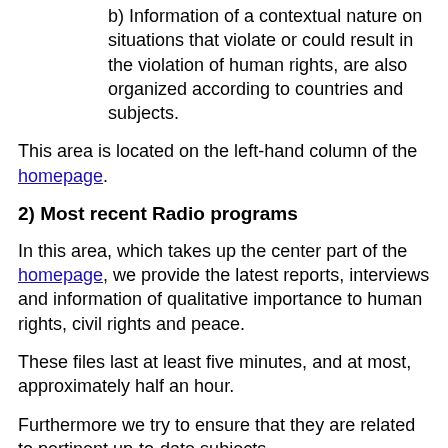b) Information of a contextual nature on situations that violate or could result in the violation of human rights, are also organized according to countries and subjects.
This area is located on the left-hand column of the homepage.
2) Most recent Radio programs
In this area, which takes up the center part of the homepage, we provide the latest reports, interviews and information of qualitative importance to human rights, civil rights and peace.
These files last at least five minutes, and at most, approximately half an hour.
Furthermore we try to ensure that they are related to pertinent up-to-date subjects.
3) "In Depth - A fondo"
This section, which occupies the right side of the